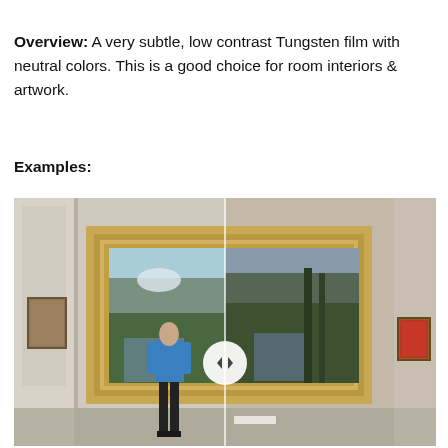Overview: A very subtle, low contrast Tungsten film with neutral colors. This is a good choice for room interiors & artwork.
Examples:
[Figure (photo): A split before/after comparison image of a museum gallery scene. A man in a blue jacket stands viewing a large landscape painting in a gilded gold frame, hanging on a beige wall. The left half is lighter/cooler and the right half shows a warmer, more dramatic rendering of the same scene. A circular slider icon with left and right arrows is centered at the split line. Other smaller framed paintings are visible on the side walls.]